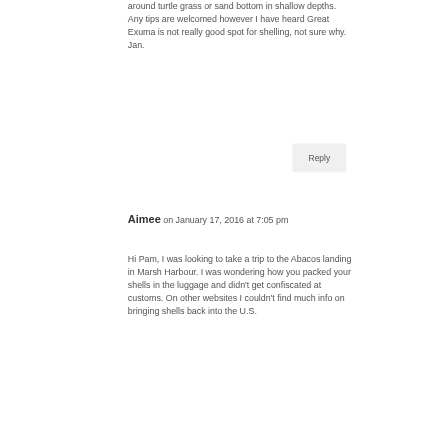around turtle grass or sand bottom in shallow depths. Any tips are welcomed however I have heard Great Exuma is not really good spot for shelling, not sure why.
Jan.
Reply
Aimee on January 17, 2016 at 7:05 pm
Hi Pam, I was looking to take a trip to the Abacos landing in Marsh Harbour. I was wondering how you packed your shells in the luggage and didn't get confiscated at customs. On other websites I couldn't find much info on bringing shells back into the U.S.